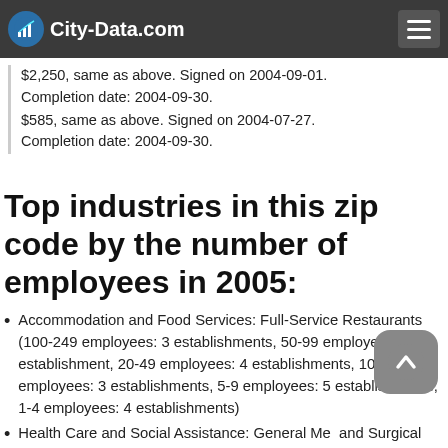City-Data.com
$54,850; same as above. Signed on 2004-10-07. Completion date: 2004-09-30. $2,250, same as above. Signed on 2004-09-01. Completion date: 2004-09-30. $585, same as above. Signed on 2004-07-27. Completion date: 2004-09-30.
Top industries in this zip code by the number of employees in 2005:
Accommodation and Food Services: Full-Service Restaurants (100-249 employees: 3 establishments, 50-99 employees: 1 establishment, 20-49 employees: 4 establishments, 10-19 employees: 3 establishments, 5-9 employees: 5 establishments, 1-4 employees: 4 establishments)
Health Care and Social Assistance: General Medical and Surgical Hospitals (500-999: 1)
Accommodation and Food Services: Limited-Service Restaurants (20-49, 15, 10-19, 3, 5-9, 4, 1-4, 3)